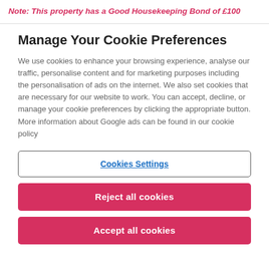Note: This property has a Good Housekeeping Bond of £100
Manage Your Cookie Preferences
We use cookies to enhance your browsing experience, analyse our traffic, personalise content and for marketing purposes including the personalisation of ads on the internet. We also set cookies that are necessary for our website to work. You can accept, decline, or manage your cookie preferences by clicking the appropriate button. More information about Google ads can be found in our cookie policy
Cookies Settings
Reject all cookies
Accept all cookies